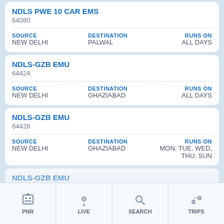NDLS PWE 10 CAR EMS
64080
SOURCE: NEW DELHI | DESTINATION: PALWAL | RUNS ON: ALL DAYS
NDLS-GZB EMU
64424
SOURCE: NEW DELHI | DESTINATION: GHAZIABAD | RUNS ON: ALL DAYS
NDLS-GZB EMU
64428
SOURCE: NEW DELHI | DESTINATION: GHAZIABAD | RUNS ON: MON, TUE, WED, THU, SUN
NDLS-GZB EMU
64432
SOURCE: NEW DELHI | DESTINATION: GHAZIABAD | RUNS ON: ALL DAYS
PNR | LIVE | SEARCH | TRIPS